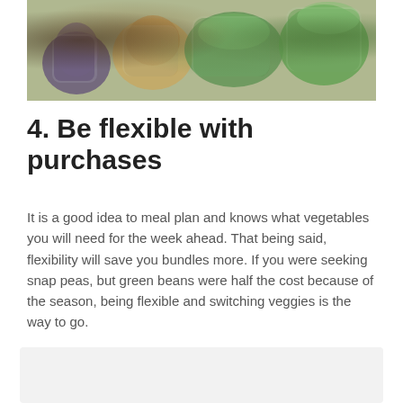[Figure (photo): Photo of vegetables in plastic bags being held, including green vegetables and root vegetables]
4. Be flexible with purchases
It is a good idea to meal plan and knows what vegetables you will need for the week ahead. That being said, flexibility will save you bundles more. If you were seeking snap peas, but green beans were half the cost because of the season, being flexible and switching veggies is the way to go.